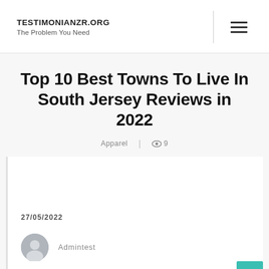TESTIMONIANZR.ORG
The Problem You Need
Top 10 Best Towns To Live In South Jersey Reviews in 2022
Apparel | 👁 9
27/05/2022
Admintest